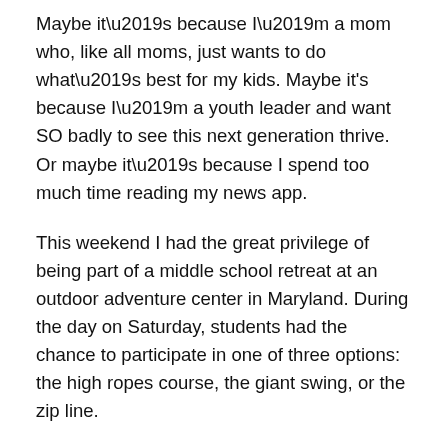Maybe it’s because I’m a mom who, like all moms, just wants to do what’s best for my kids. Maybe it’s because I’m a youth leader and want SO badly to see this next generation thrive. Or maybe it’s because I spend too much time reading my news app.
This weekend I had the great privilege of being part of a middle school retreat at an outdoor adventure center in Maryland. During the day on Saturday, students had the chance to participate in one of three options: the high ropes course, the giant swing, or the zip line.
At one point, when I was standing near the end of the ropes course, my friend Ashley, who was assisting students as they came through, was bouncing on the ‘bridge’ part of the course and leaning off the side of it. The students nervously waiting in line for their turn looked shocked and as Ashley walked back to ‘safety’, one